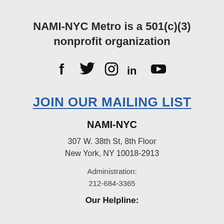NAMI-NYC Metro is a 501(c)(3) nonprofit organization
[Figure (illustration): Social media icons: Facebook, Twitter, Instagram, LinkedIn, YouTube]
JOIN OUR MAILING LIST
NAMI-NYC
307 W. 38th St, 8th Floor
New York, NY 10018-2913
Administration:
212-684-3365
Our Helpline: